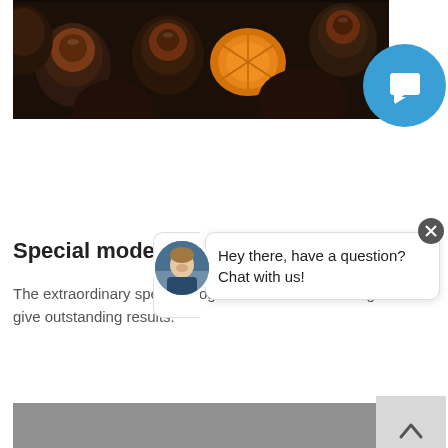[Figure (photo): Close-up of roasted figs and citrus slices on a dark baking tray, overhead view]
[Figure (screenshot): Blue circular chat button with speech bubble/chat icon, and a chat popup showing an avatar of a man and the text 'Hey there, have a question? Chat with us!' with a close X button]
Special modes
The extraordinary special programs such as Blanching give outstanding results.
[Figure (photo): Close-up of golden-brown braided bread (challah or brioche) next to a dark knife blade on a gray surface]
[Figure (screenshot): Gray scroll-to-top button with upward caret arrow]